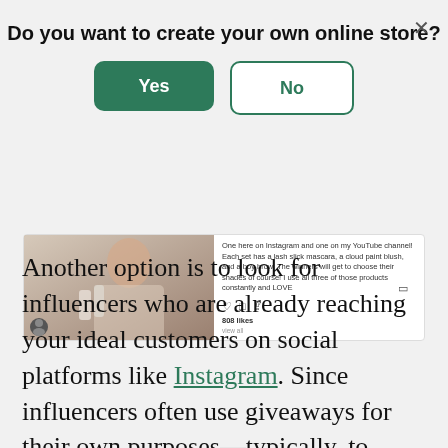Do you want to create your own online store?
[Figure (screenshot): Modal dialog with Yes (green filled button) and No (green outlined button) options, with an X close button in the top right]
[Figure (screenshot): Instagram post showing a woman holding beauty products, with caption text about YouTube channel, lash slick mascara, cloud paint blush, and boy brow. Shows 808 likes and a Log in prompt.]
Another option is to look for influencers who are already reaching your ideal customers on social platforms like Instagram. Since influencers often use giveaways for their own purposes—typically, to break through the noise